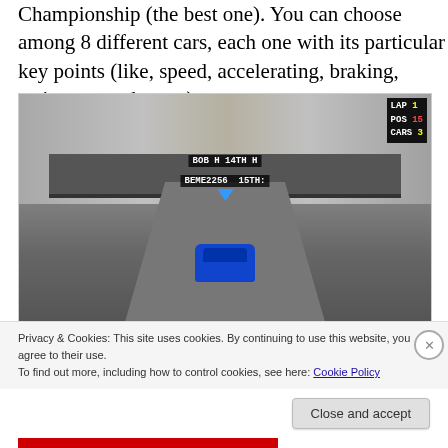Championship (the best one). You can choose among 8 different cars, each one with its particular key points (like, speed, accelerating, braking, resistance and so on).
[Figure (screenshot): Screenshot of a racing video game showing a blue car from behind driving through a tunnel/underpass. HUD shows LAP 1, POS 15, CARS 3 in top right. Player labels 'BOB H 14TH H' and 'BEME2256 15TH' visible above the blue car.]
Privacy & Cookies: This site uses cookies. By continuing to use this website, you agree to their use.
To find out more, including how to control cookies, see here: Cookie Policy